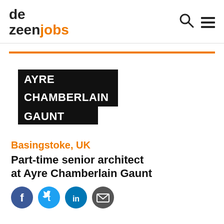dezeen jobs
[Figure (logo): Ayre Chamberlain Gaunt company logo — white text on black background]
Basingstoke, UK
Part-time senior architect at Ayre Chamberlain Gaunt
[Figure (infographic): Social share icons: Facebook, Twitter, LinkedIn, Email]